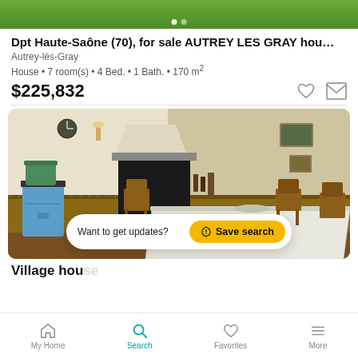[Figure (photo): Top portion of an exterior photo of a property with green grass/garden, partially visible at the top of the screen with navigation dots.]
Dpt Haute-Saône (70), for sale AUTREY LES GRAY hou…
Autrey-lès-Gray
House • 7 room(s) • 4 Bed. • 1 Bath. • 170 m²
$225,832
[Figure (photo): Interior photo of a village house showing a dining room with a wooden table, chairs, a fireplace, wood-paneled walls, wallpaper, and a blue cabinet/trolley.]
Want to get updates?  Save search
Village house
My Home   Search   Favorites   More